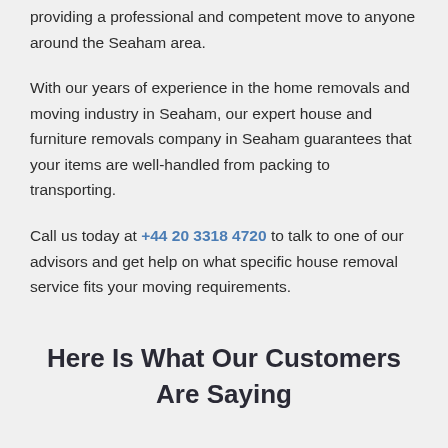providing a professional and competent move to anyone around the Seaham area.
With our years of experience in the home removals and moving industry in Seaham, our expert house and furniture removals company in Seaham guarantees that your items are well-handled from packing to transporting.
Call us today at +44 20 3318 4720 to talk to one of our advisors and get help on what specific house removal service fits your moving requirements.
Here Is What Our Customers Are Saying